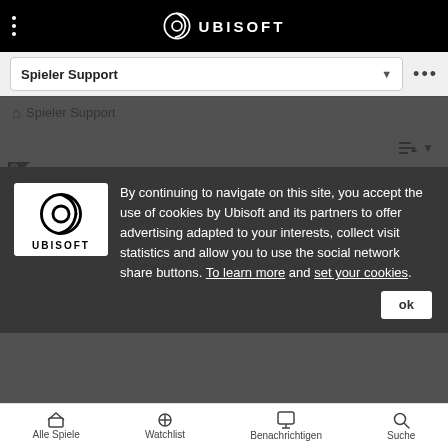UBISOFT
Spieler Support
Spieler Support
Kann nicht mehr schnell reiten
PC  TECHNICAL ISSUE
0 Likes / 9 Antworten / 92 Ansichten
Original poster  mondy139 5 Beiträge
de... ich kann ich nicht mehr schnell reiten mit linker Schalttaste. Da passiert einfach gar nichts mehr. Es erscheint nicht mal der blaue Ausdauer-Balken. Das Reittier reitet nur noch so schnell...
By continuing to navigate on this site, you accept the use of cookies by Ubisoft and its partners to offer advertising adapted to your interests, collect visit statistics and allow you to use the social network share buttons. To learn more and set your cookies.
Alle Spiele  Watchlist  Benachrichtigungen  Suche